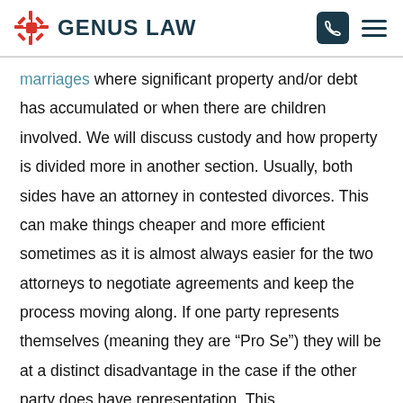GENUS LAW
marriages where significant property and/or debt has accumulated or when there are children involved. We will discuss custody and how property is divided more in another section. Usually, both sides have an attorney in contested divorces. This can make things cheaper and more efficient sometimes as it is almost always easier for the two attorneys to negotiate agreements and keep the process moving along. If one party represents themselves (meaning they are “Pro Se”) they will be at a distinct disadvantage in the case if the other party does have representation. This